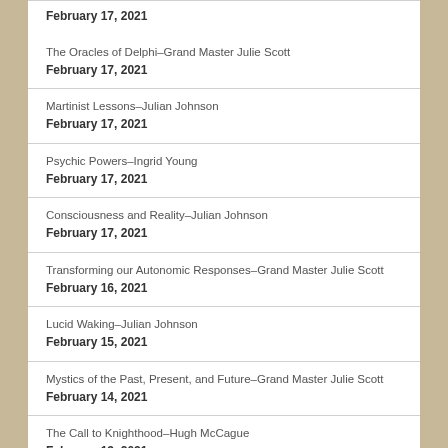February 17, 2021
The Oracles of Delphi–Grand Master Julie Scott
February 17, 2021
Martinist Lessons–Julian Johnson
February 17, 2021
Psychic Powers–Ingrid Young
February 17, 2021
Consciousness and Reality–Julian Johnson
February 17, 2021
Transforming our Autonomic Responses–Grand Master Julie Scott
February 16, 2021
Lucid Waking–Julian Johnson
February 15, 2021
Mystics of the Past, Present, and Future–Grand Master Julie Scott
February 14, 2021
The Call to Knighthood–Hugh McCague
February 13, 2021